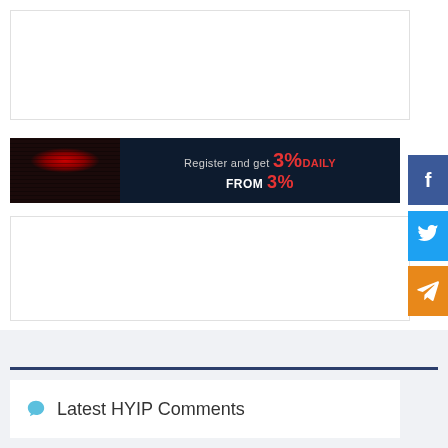[Figure (other): White advertisement placeholder box with light border, top of page]
[Figure (other): Dark themed banner advertisement with a face showing red glowing eyes on left side, and text 'Register and get 3% DAILY FROM 3%' in white and red on dark navy background]
[Figure (other): White advertisement placeholder box with light border, middle of page]
[Figure (other): Facebook share button - blue square with 'f' icon on right edge]
[Figure (other): Twitter share button - light blue square with bird icon on right edge]
[Figure (other): Telegram share button - orange square with paper plane icon on right edge]
Latest HYIP Comments